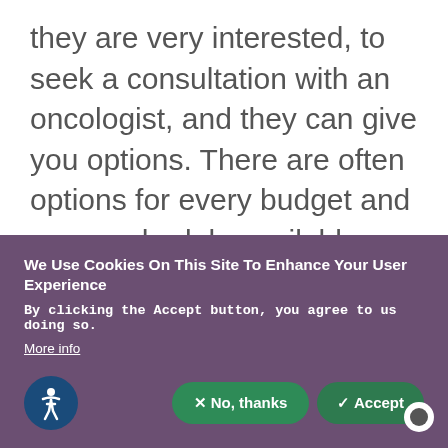they are very interested, to seek a consultation with an oncologist, and they can give you options. There are often options for every budget and every schedule available—not always, but many times there are. You can at least get that consultation to know what your options are.
Pet insurance and twice-yearly exams can
We Use Cookies On This Site To Enhance Your User Experience
By clicking the Accept button, you agree to us doing so.
More info